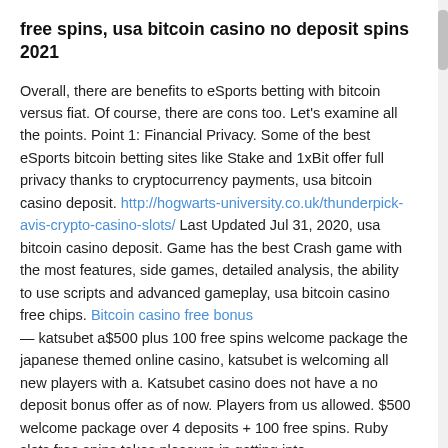free spins, usa bitcoin casino no deposit spins 2021
Overall, there are benefits to eSports betting with bitcoin versus fiat. Of course, there are cons too. Let's examine all the points. Point 1: Financial Privacy. Some of the best eSports bitcoin betting sites like Stake and 1xBit offer full privacy thanks to cryptocurrency payments, usa bitcoin casino deposit. http://hogwarts-university.co.uk/thunderpick-avis-crypto-casino-slots/ Last Updated Jul 31, 2020, usa bitcoin casino deposit. Game has the best Crash game with the most features, side games, detailed analysis, the ability to use scripts and advanced gameplay, usa bitcoin casino free chips. Bitcoin casino free bonus — katsubet a$500 plus 100 free spins welcome package the japanese themed online casino, katsubet is welcoming all new players with a. Katsubet casino does not have a no deposit bonus offer as of now. Players from us allowed. $500 welcome package over 4 deposits + 100 free spins. Ruby slots free spins takes pleasure in getting into